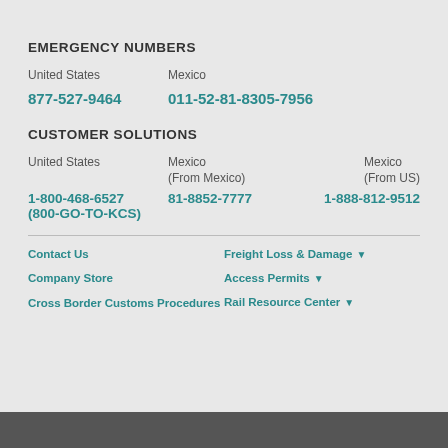EMERGENCY NUMBERS
United States		Mexico
877-527-9464		011-52-81-8305-7956
CUSTOMER SOLUTIONS
United States		Mexico (From Mexico)		Mexico (From US)
1-800-468-6527 (800-GO-TO-KCS)		81-8852-7777		1-888-812-9512
Contact Us
Freight Loss & Damage
Company Store
Access Permits
Cross Border Customs Procedures
Rail Resource Center